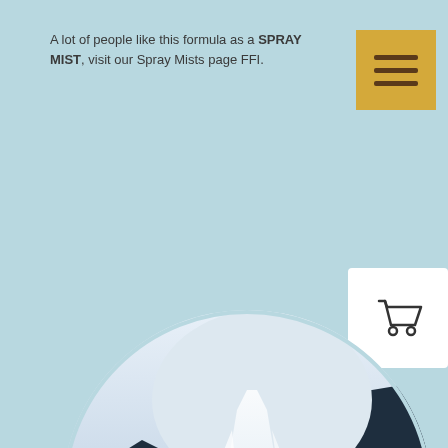A lot of people like this formula as a SPRAY MIST, visit our Spray Mists page FFI.
[Figure (illustration): Yellow/gold menu button with three horizontal bars (hamburger icon) in the top-right corner]
[Figure (illustration): White shopping cart icon button floating on the right side]
[Figure (photo): Circular cropped photograph of a dramatic waterfall cascading over dark rocky cliffs, with mist at the base, on a light blue background]